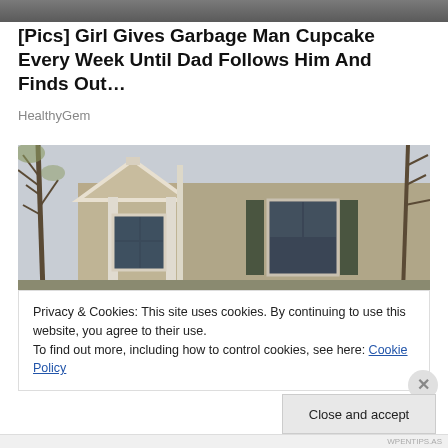[Figure (photo): Partial photo at top of page, cropped person visible]
[Pics] Girl Gives Garbage Man Cupcake Every Week Until Dad Follows Him And Finds Out…
HealthyGem
[Figure (photo): Photo of a two-story house with tan/beige vinyl siding, white trim, windows with shutters, surrounded by bare trees in early spring]
Privacy & Cookies: This site uses cookies. By continuing to use this website, you agree to their use.
To find out more, including how to control cookies, see here: Cookie Policy
Close and accept